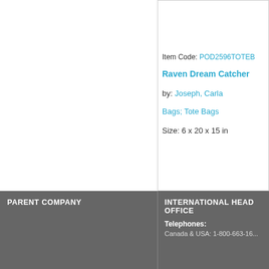Item Code: POD2596TOTEB
Raven Dream Catcher
by: Joseph, Carla
Bags; Tote Bags
Size: 6 x 20 x 15 in
PARENT COMPANY
INTERNATIONAL HEAD OFFICE
Telephones:
Canada & USA: 1-800-663-1...